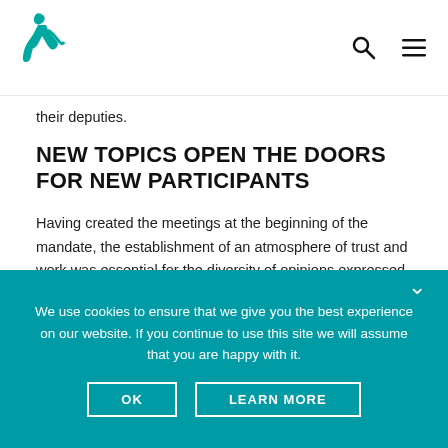Logo and navigation icons
their deputies.
NEW TOPICS OPEN THE DOORS FOR NEW PARTICIPANTS
Having created the meetings at the beginning of the mandate, the establishment of an atmosphere of trust and work was essential for the diversity of opinions expressed. It was important that all citizens wishing to take part in these meetings felt legitimate in doing so,
We use cookies to ensure that we give you the best experience on our website. If you continue to use this site we will assume that you are happy with it.
OK   LEARN MORE